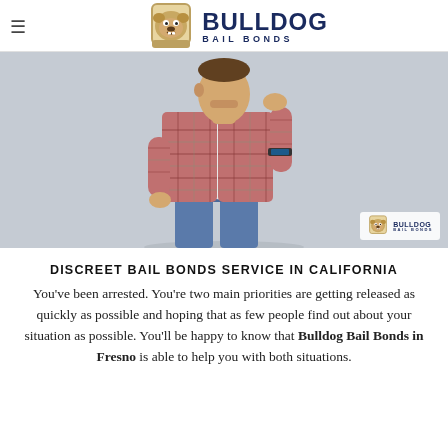Bulldog Bail Bonds
[Figure (photo): A man wearing a plaid shirt over a white t-shirt and jeans, standing with his hand near his chin in a thoughtful pose against a light gray background. A Bulldog Bail Bonds watermark logo appears in the lower right corner of the image.]
DISCREET BAIL BONDS SERVICE IN CALIFORNIA
You've been arrested. You're two main priorities are getting released as quickly as possible and hoping that as few people find out about your situation as possible. You'll be happy to know that Bulldog Bail Bonds in Fresno is able to help you with both situations.